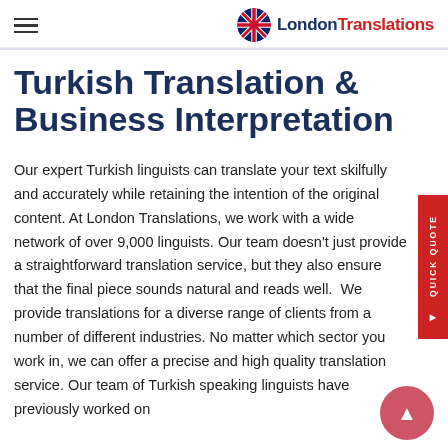LondonTranslations
Turkish Translation & Business Interpretation
Our expert Turkish linguists can translate your text skilfully and accurately while retaining the intention of the original content. At London Translations, we work with a wide network of over 9,000 linguists. Our team doesn't just provide a straightforward translation service, but they also ensure that the final piece sounds natural and reads well.  We provide translations for a diverse range of clients from a number of different industries. No matter which sector you work in, we can offer a precise and high quality translation service. Our team of Turkish speaking linguists have previously worked on